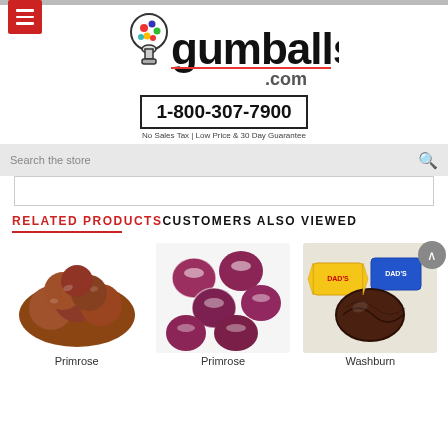[Figure (logo): gumballs.com logo with colorful gumball machine icon, phone number 1-800-307-7900, and tagline 'No Sales Tax | Low Price & 30 Day Guarantee']
RELATED PRODUCTS   CUSTOMERS ALSO VIEWED
[Figure (photo): Pile of unwrapped brown round candies (Primrose)]
[Figure (photo): Individually wrapped dark red round candies on white background (Primrose)]
[Figure (photo): Washburn branded wrapped chocolate candies with yellow/blue wrappers]
Primrose
Primrose
Washburn